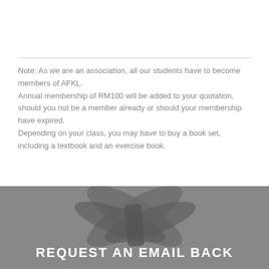Note: As we are an association, all our students have to become members of AFKL.
Annual membership of RM100 will be added to your quotation, should you not be a member already or should your membership have expired.
Depending on your class, you may have to buy a book set, including a textbook and an exercise book.
[Figure (photo): Dark grey background photo showing what appears to be a bow or ribbon shape, with a call-to-action text overlay reading 'REQUEST AN EMAIL BACK']
REQUEST AN EMAIL BACK